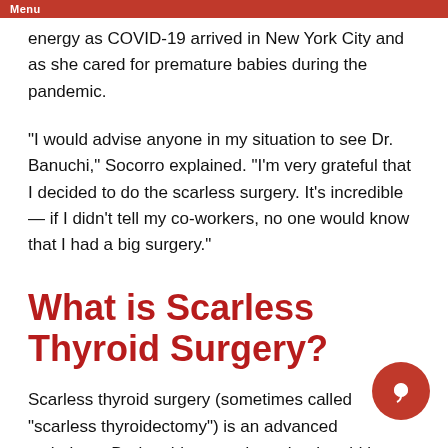Menu
energy as COVID-19 arrived in New York City and as she cared for premature babies during the pandemic.
“I would advise anyone in my situation to see Dr. Banuchi,” Socorro explained. “I’m very grateful that I decided to do the scarless surgery. It’s incredible — if I didn’t tell my co-workers, no one would know that I had a big surgery.”
What is Scarless Thyroid Surgery?
Scarless thyroid surgery (sometimes called “scarless thyroidectomy”) is an advanced technique. During this procedure, the thyroid is accessed through the mouth, called a “transoral” approach. The surgeon makes several small incisions on the inner surface of the lower lip. The surgeon then accesses and treats the specific condition through these